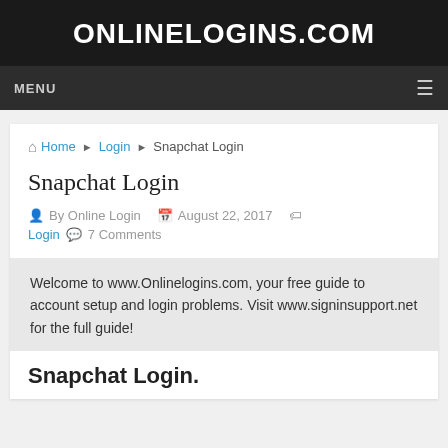ONLINELOGINS.COM
MENU
Home › Login › Snapchat Login
Snapchat Login
By Online Login   August 22, 2017   Login   7 Comments
Welcome to www.Onlinelogins.com, your free guide to account setup and login problems. Visit www.signinsupport.net for the full guide!
Snapchat Login.